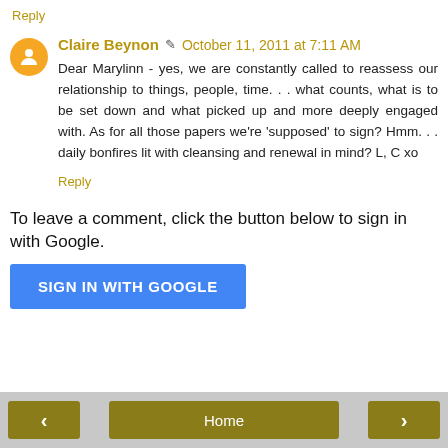Reply
Claire Beynon  October 11, 2011 at 7:11 AM
Dear Marylinn - yes, we are constantly called to reassess our relationship to things, people, time. . . what counts, what is to be set down and what picked up and more deeply engaged with. As for all those papers we're 'supposed' to sign? Hmm. . . daily bonfires lit with cleansing and renewal in mind? L, C xo
Reply
To leave a comment, click the button below to sign in with Google.
SIGN IN WITH GOOGLE
< Home >